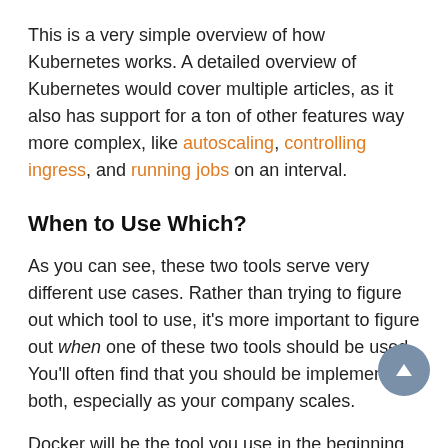This is a very simple overview of how Kubernetes works. A detailed overview of Kubernetes would cover multiple articles, as it also has support for a ton of other features way more complex, like autoscaling, controlling ingress, and running jobs on an interval.
When to Use Which?
As you can see, these two tools serve very different use cases. Rather than trying to figure out which tool to use, it's more important to figure out when one of these two tools should be used. You'll often find that you should be implementing both, especially as your company scales.
Docker will be the tool you use in the beginning of your toolchain. It's the tool you will use to define an image of your application, which can then later be run as a container. With Docker, you are preparing your application to be run in